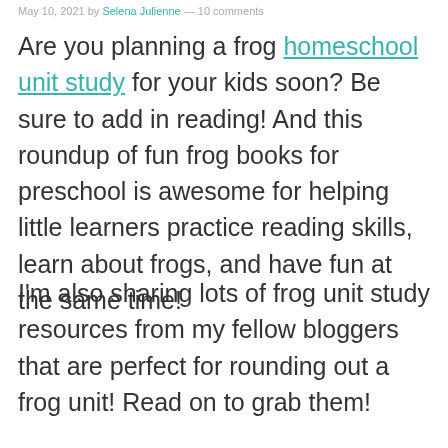May 10, 2021 by [author] — 10 comments
Are you planning a frog homeschool unit study for your kids soon? Be sure to add in reading! And this roundup of fun frog books for preschool is awesome for helping little learners practice reading skills, learn about frogs, and have fun at the same time!
I'm also sharing lots of frog unit study resources from my fellow bloggers that are perfect for rounding out a frog unit! Read on to grab them!